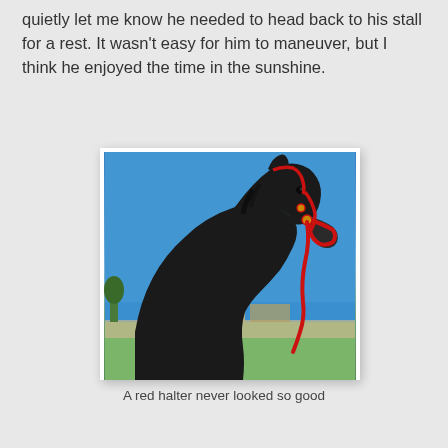quietly let me know he needed to head back to his stall for a rest. It wasn't easy for him to maneuver, but I think he enjoyed the time in the sunshine.
[Figure (photo): A black horse wearing a red halter and red lead rope, photographed in profile against a bright blue sky with green grass and buildings in the background.]
A red halter never looked so good